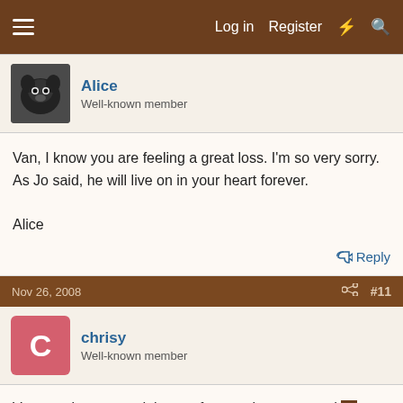Log in  Register
Alice
Well-known member
Van, I know you are feeling a great loss. I'm so very sorry. As Jo said, he will live on in your heart forever.

Alice
Reply
Nov 26, 2008  #11
chrisy
Well-known member
Van my sincere condolences for your loss. you and I family are in my prayers. And just hold on to all those nice memories you have of him, and one day you'll find